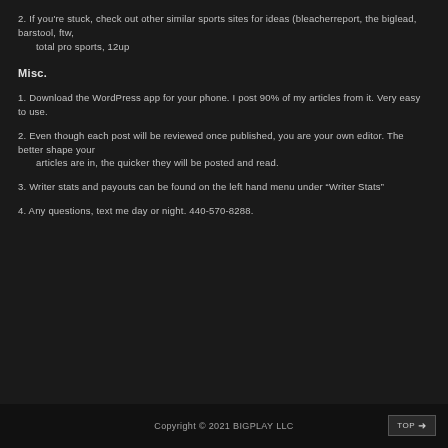2. If you're stuck, check out other similar sports sites for ideas (bleacherreport, the biglead, barstool, ftw, total pro sports, 12up
Misc.
1. Download the WordPress app for your phone. I post 90% of my articles from it. Very easy to use.
2. Even though each post will be reviewed once published, you are your own editor. The better shape your articles are in, the quicker they will be posted and read.
3. Writer stats and payouts can be found on the left hand menu under “Writer Stats”
4. Any questions, text me day or night. 440-570-8288.
Copyright © 2021 BIGPLAY LLC